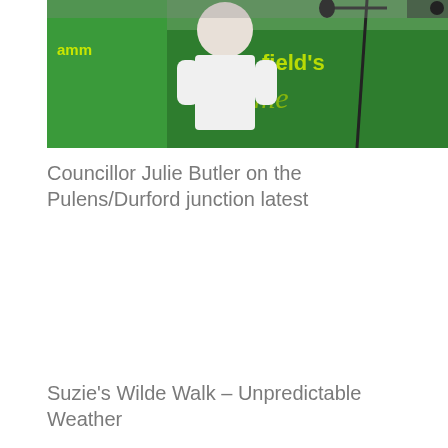[Figure (photo): A person wearing a white top standing in front of a green banner/sign. The banner partially shows text including 'field's' and decorative lettering. A microphone stand is visible in the background.]
Councillor Julie Butler on the Pulens/Durford junction latest
Suzie's Wilde Walk – Unpredictable Weather